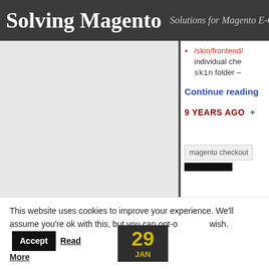Solving Magento — Solutions for Magento E-Commerce
/skin/frontend/... individual che... skin folder –
Continue reading
9 YEARS AGO  +
magento checkout
This website uses cookies to improve your experience. We'll assume you're ok with this, but you can opt-out if you wish.
Accept   Read More
[Figure (other): Calendar badge showing date 29 JAN]